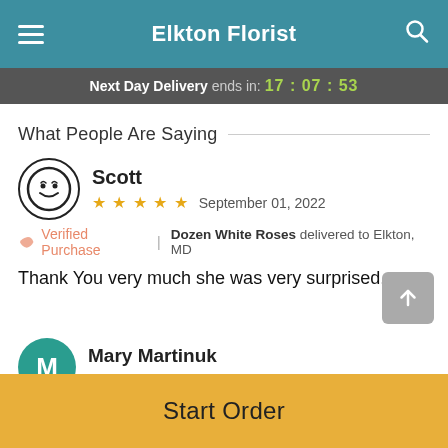Elkton Florist
Next Day Delivery ends in: 17:07:53
What People Are Saying
Scott — ★★★★★ — September 01, 2022 — Verified Purchase | Dozen White Roses delivered to Elkton, MD — Thank You very much she was very surprised.
Mary Martinuk — ★★★★★ — July 21, 2022
Start Order